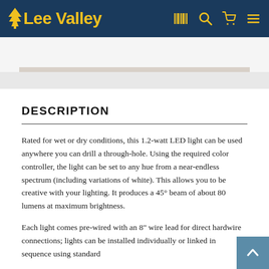Lee Valley
DESCRIPTION
Rated for wet or dry conditions, this 1.2-watt LED light can be used anywhere you can drill a through-hole. Using the required color controller, the light can be set to any hue from a near-endless spectrum (including variations of white). This allows you to be creative with your lighting. It produces a 45° beam of about 80 lumens at maximum brightness.
Each light comes pre-wired with an 8" wire lead for direct hardwire connections; lights can be installed individually or linked in sequence using standard